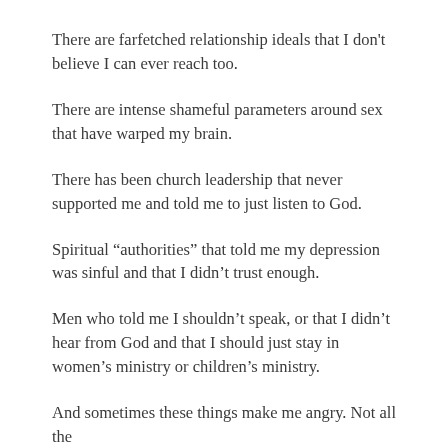There are farfetched relationship ideals that I don't believe I can ever reach too.
There are intense shameful parameters around sex that have warped my brain.
There has been church leadership that never supported me and told me to just listen to God.
Spiritual “authorities” that told me my depression was sinful and that I didn’t trust enough.
Men who told me I shouldn’t speak, or that I didn’t hear from God and that I should just stay in women’s ministry or children’s ministry.
And sometimes these things make me angry. Not all the